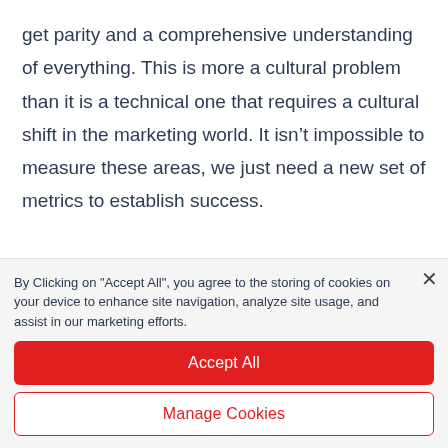get parity and a comprehensive understanding of everything. This is more a cultural problem than it is a technical one that requires a cultural shift in the marketing world. It isn't impossible to measure these areas, we just need a new set of metrics to establish success.
By Clicking on "Accept All", you agree to the storing of cookies on your device to enhance site navigation, analyze site usage, and assist in our marketing efforts.
Accept All
Manage Cookies